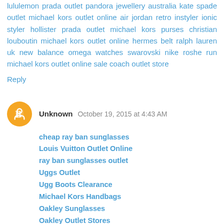lululemon prada outlet pandora jewellery australia kate spade outlet michael kors outlet online air jordan retro instyler ionic styler hollister prada outlet michael kors purses christian louboutin michael kors outlet online hermes belt ralph lauren uk new balance omega watches swarovski nike roshe run michael kors outlet online sale coach outlet store
Reply
Unknown  October 19, 2015 at 4:43 AM
cheap ray ban sunglasses
Louis Vuitton Outlet Online
ray ban sunglasses outlet
Uggs Outlet
Ugg Boots Clearance
Michael Kors Handbags
Oakley Sunglasses
Oakley Outlet Stores
Cheap Jordan Shoes
ray ban outlet store online